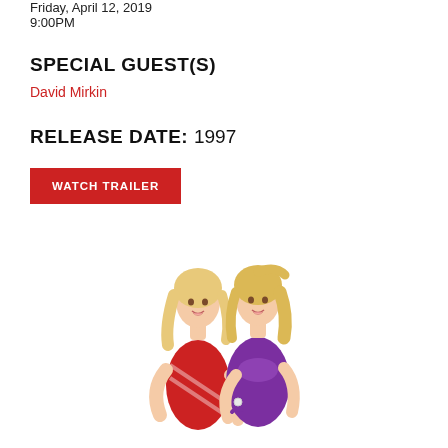Friday, April 12, 2019
9:00PM
SPECIAL GUEST(S)
David Mirkin
RELEASE DATE: 1997
WATCH TRAILER
[Figure (photo): Two blonde women in colorful outfits posing together, one in red and one in purple]